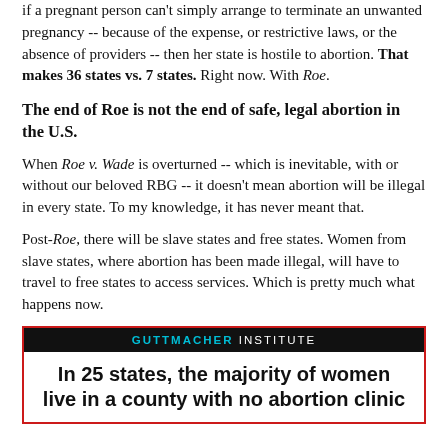if a pregnant person can't simply arrange to terminate an unwanted pregnancy -- because of the expense, or restrictive laws, or the absence of providers -- then her state is hostile to abortion. That makes 36 states vs. 7 states. Right now. With Roe.
The end of Roe is not the end of safe, legal abortion in the U.S.
When Roe v. Wade is overturned -- which is inevitable, with or without our beloved RBG -- it doesn't mean abortion will be illegal in every state. To my knowledge, it has never meant that.
Post-Roe, there will be slave states and free states. Women from slave states, where abortion has been made illegal, will have to travel to free states to access services. Which is pretty much what happens now.
[Figure (infographic): Guttmacher Institute infographic: In 25 states, the majority of women live in a county with no abortion clinic]